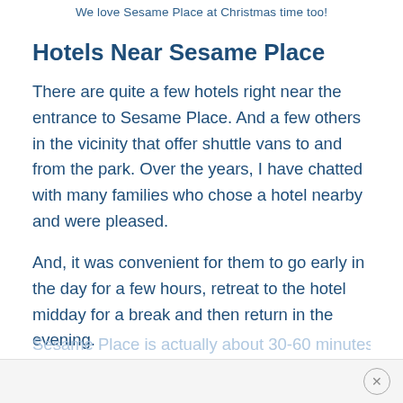We love Sesame Place at Christmas time too!
Hotels Near Sesame Place
There are quite a few hotels right near the entrance to Sesame Place. And a few others in the vicinity that offer shuttle vans to and from the park. Over the years, I have chatted with many families who chose a hotel nearby and were pleased.
And, it was convenient for them to go early in the day for a few hours, retreat to the hotel midday for a break and then return in the evening.
Sesame Place is actually about 30-60 minutes...